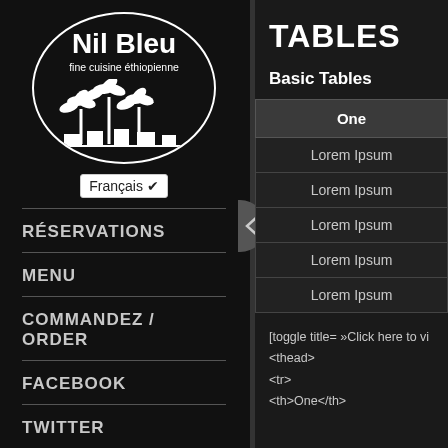[Figure (logo): Nil Bleu restaurant logo: white circle with text 'Nil Bleu fine cuisine éthiopienne' and palm trees/buildings silhouette]
Français ▾
RÉSERVATIONS
MENU
COMMANDEZ / ORDER
FACEBOOK
TWITTER
TABLES
Basic Tables
| One |
| --- |
| Lorem Ipsum |
| Lorem Ipsum |
| Lorem Ipsum |
| Lorem Ipsum |
| Lorem Ipsum |
[toggle title= »Click here to vi
<thead>
<tr>
<th>One</th>